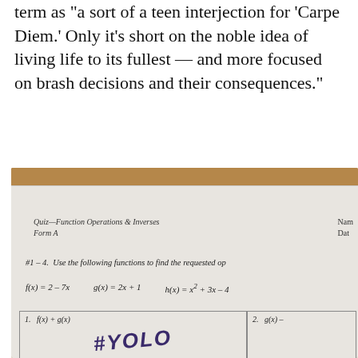term as "a sort of a teen interjection for 'Carpe Diem.' Only it's short on the noble idea of living life to its fullest — and more focused on brash decisions and their consequences."
[Figure (photo): Photo of a math quiz paper on a wooden desk. The quiz is titled 'Quiz—Function Operations & Inverses, Form A' with Name/Date fields. It instructs '#1–4. Use the following functions to find the requested op[eration]'. Functions listed: f(x)=2–7x, g(x)=2x+1, h(x)=x²+3x–4. Question 1 asks f(x)+g(x) and a student has written '#YOLO' as the answer. Question 2 asks g(x)– (cut off).]